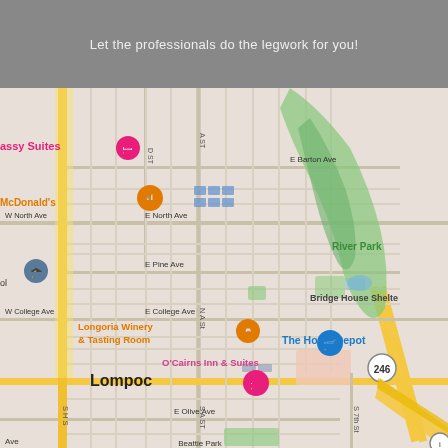Let the professionals do the legwork for you!
[Figure (map): Google Maps street map of Lompoc, California showing nearby landmarks including Embassy Suites, McDonald's, Longoria Winery & Tasting Room, O'Cairns Inn & Suites, The Home Depot, Bridge House Shelter, River Park, and various street labels including E Barton Ave, W North Ave, E North Ave, E Pine Ave, W College Ave, E College Ave, E Olive Ave, N A St, S A St, S H St, S 7th St, and highway 246.]